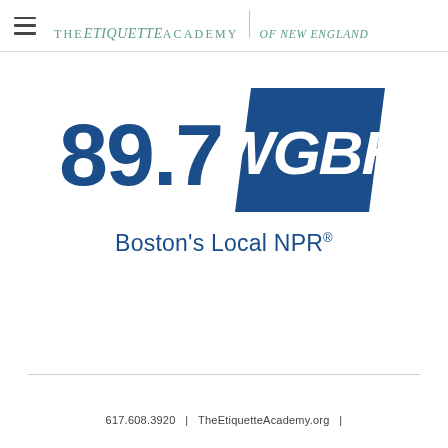THE etiquette ACADEMY of new england
[Figure (logo): 89.7 WGBH Boston's Local NPR® logo — dark blue bold numerals '89.7' next to WGBH letters in a bold italicized parallelogram shield shape, with tagline 'Boston's Local NPR®' below]
617.608.3920  |  TheEtiquetteAcademy.org  |